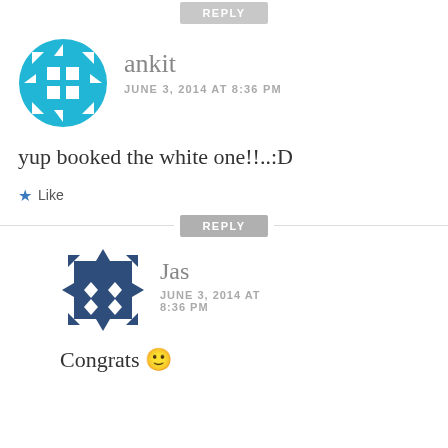[Figure (other): REPLY button at the top of the page]
[Figure (illustration): Avatar for user 'ankit' — a teal/cyan circular snowflake-like geometric pattern]
ankit
JUNE 3, 2014 AT 8:36 PM
yup booked the white one!!..:D
Like
[Figure (other): REPLY button divider]
[Figure (illustration): Avatar for user 'Jas' — a dark navy/blue square geometric icon with diamond shapes and arrow-like points on four sides]
Jas
JUNE 3, 2014 AT 8:36 PM
Congrats 🙂